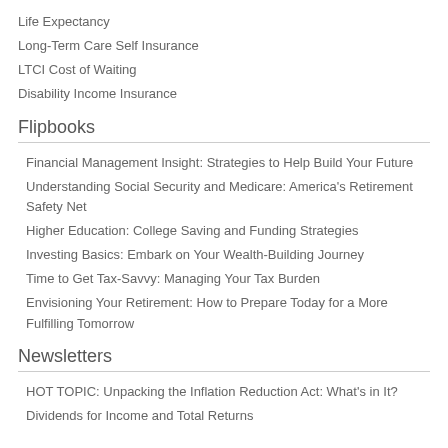Life Expectancy
Long-Term Care Self Insurance
LTCI Cost of Waiting
Disability Income Insurance
Flipbooks
Financial Management Insight: Strategies to Help Build Your Future
Understanding Social Security and Medicare: America's Retirement Safety Net
Higher Education: College Saving and Funding Strategies
Investing Basics: Embark on Your Wealth-Building Journey
Time to Get Tax-Savvy: Managing Your Tax Burden
Envisioning Your Retirement: How to Prepare Today for a More Fulfilling Tomorrow
Newsletters
HOT TOPIC: Unpacking the Inflation Reduction Act: What's in It?
Dividends for Income and Total Returns